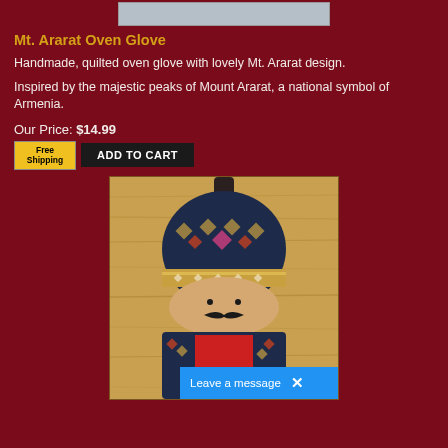[Figure (photo): Partial top image of product (cropped at top of page)]
Mt. Ararat Oven Glove
Handmade, quilted oven glove with lovely Mt. Ararat design.
Inspired by the majestic peaks of Mount Ararat, a national symbol of Armenia.
Our Price: $14.99
[Figure (photo): Free Shipping badge and Add to Cart button]
[Figure (photo): Photo of handmade Armenian oven glove shaped like a figure with traditional patterned fabric (dark blue with geometric motifs), a face with mustache, and red body section, hanging on a wooden background. A 'Leave a message' chat widget appears in the bottom right corner.]